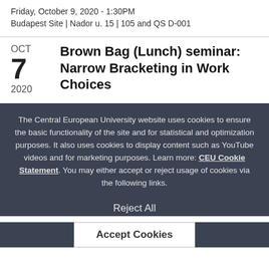Friday, October 9, 2020 - 1:30PM
Budapest Site | Nador u. 15 | 105 and QS D-001
Brown Bag (Lunch) seminar: Narrow Bracketing in Work Choices
The Central European University website uses cookies to ensure the basic functionality of the site and for statistical and optimization purposes. It also uses cookies to display content such as YouTube videos and for marketing purposes. Learn more: CEU Cookie Statement. You may either accept or reject usage of cookies via the following links.
Reject All
Accept Cookies